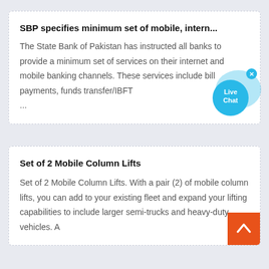SBP specifies minimum set of mobile, intern...
The State Bank of Pakistan has instructed all banks to provide a minimum set of services on their internet and mobile banking channels. These services include bill payments, funds transfer/IBFT ...
[Figure (other): Live Chat bubble widget with close button, shown as a cyan circular chat icon with 'Live Chat' text]
Set of 2 Mobile Column Lifts
Set of 2 Mobile Column Lifts. With a pair (2) of mobile column lifts, you can add to your existing fleet and expand your lifting capabilities to include larger semi-trucks and heavy-duty vehicles. A
[Figure (other): Orange back-to-top button with white upward chevron arrow]